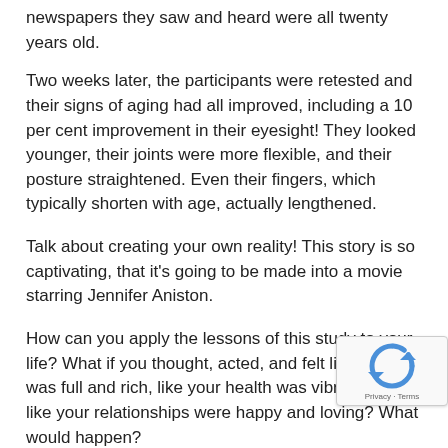newspapers they saw and heard were all twenty years old.
Two weeks later, the participants were retested and their signs of aging had all improved, including a 10 per cent improvement in their eyesight! They looked younger, their joints were more flexible, and their posture straightened. Even their fingers, which typically shorten with age, actually lengthened.
Talk about creating your own reality! This story is so captivating, that it's going to be made into a movie starring Jennifer Aniston.
How can you apply the lessons of this study to your life? What if you thought, acted, and felt like your life was full and rich, like your health was vibrant, and like your relationships were happy and loving? What would happen?
To this question...